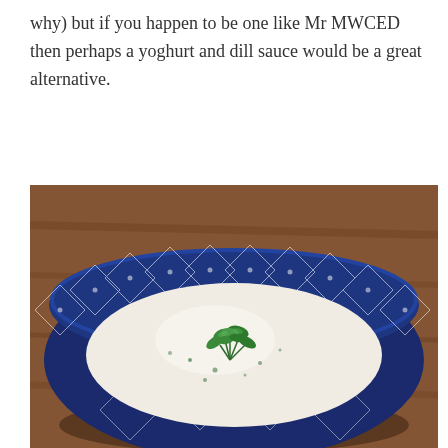why) but if you happen to be one like Mr MWCED then perhaps a yoghurt and dill sauce would be a great alternative.
[Figure (photo): A blue patterned ceramic bowl filled with a creamy white yoghurt and dill sauce, garnished with a sprig of fresh green herbs (parsley or coriander) in the center, placed on a wooden surface.]